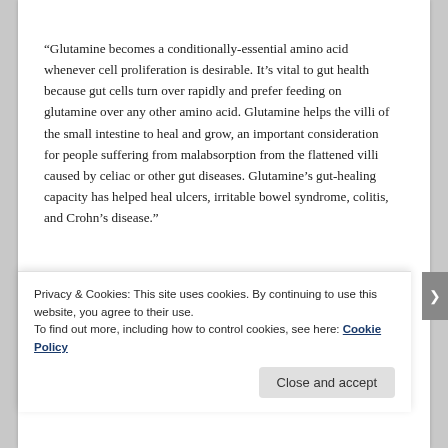“Glutamine becomes a conditionally-essential amino acid whenever cell proliferation is desirable. It’s vital to gut health because gut cells turn over rapidly and prefer feeding on glutamine over any other amino acid. Glutamine helps the villi of the small intestine to heal and grow, an important consideration for people suffering from malabsorption from the flattened villi caused by celiac or other gut diseases. Glutamine’s gut-healing capacity has helped heal ulcers, irritable bowel syndrome, colitis, and Crohn’s disease.”
“Glutamine stimulates immune cells, causing the
Privacy & Cookies: This site uses cookies. By continuing to use this website, you agree to their use.
To find out more, including how to control cookies, see here: Cookie Policy